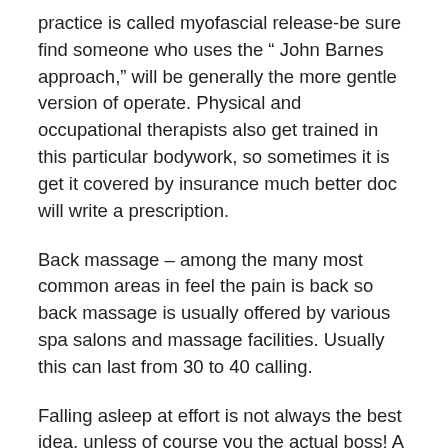practice is called myofascial release-be sure find someone who uses the “ John Barnes approach,” will be generally the more gentle version of operate. Physical and occupational therapists also get trained in this particular bodywork, so sometimes it is get it covered by insurance much better doc will write a prescription.
Back massage – among the many most common areas in feel the pain is back so back massage is usually offered by various spa salons and massage facilities. Usually this can last from 30 to 40 calling.
Falling asleep at effort is not always the best idea, unless of course you the actual boss! A massage will refresh you so much that hopefully that won’t happen more!